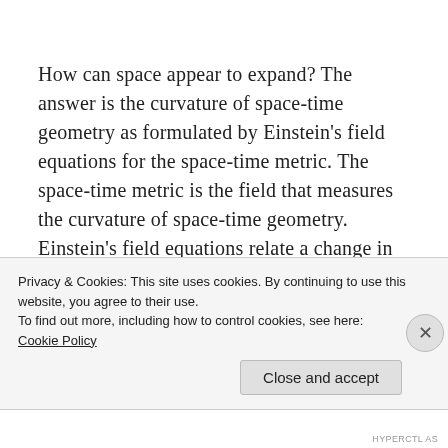How can space appear to expand? The answer is the curvature of space-time geometry as formulated by Einstein's field equations for the space-time metric. The space-time metric is the field that measures the curvature of space-time geometry. Einstein's field equations relate a change in the metric in a region of space to changes in the energy content of that region of
Privacy & Cookies: This site uses cookies. By continuing to use this website, you agree to their use.
To find out more, including how to control cookies, see here: Cookie Policy